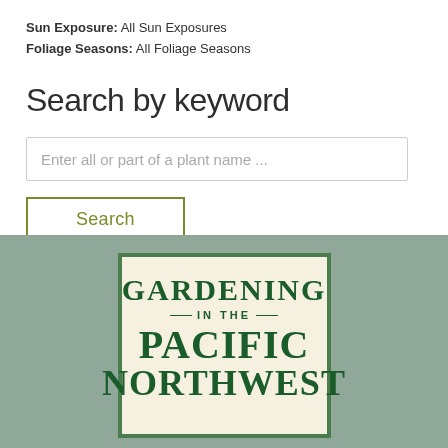Sun Exposure: All Sun Exposures
Foliage Seasons: All Foliage Seasons
Search by keyword
[Figure (screenshot): A text input field with placeholder text 'Enter all or part of a plant name ...' and a Search button with olive green border and text]
[Figure (illustration): Book cover for 'Gardening in the Pacific Northwest' shown partially, with dark green text on cream background, surrounded by a green border, placed on a sage green background]